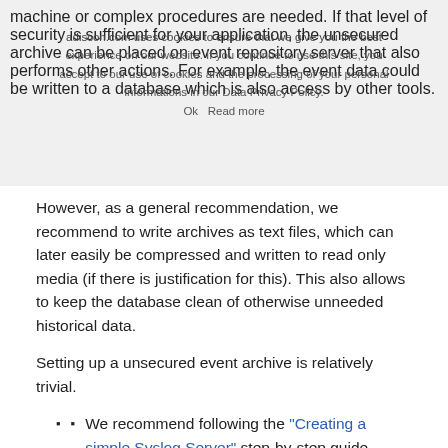machine or complex procedures are needed. If that level of security is sufficient for your application, the unsecured archive can be placed on event repository server that also performs other actions. For example, the event data could be written to a database which is also access by other tools.
However, as a general recommendation, we recommend to write archives as text files, which can later easily be compressed and written to read only media (if there is justification for this). This also allows to keep the database clean of otherwise unneeded historical data.
Setting up a unsecured event archive is relatively trivial.
We recommend following the "Creating a simple Syslog Server" step-by-step guide.
If you would like to receive Windows event log data or other non-syslog based events, we recommend to set up a SETP